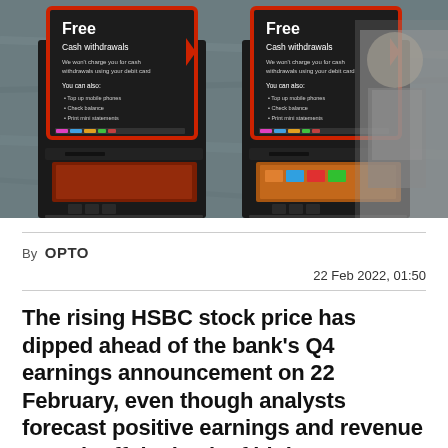[Figure (photo): Photo of two ATM machines on a wall displaying 'Free Cash withdrawals' signs with red borders. A blurred person walks past on the right side.]
By OPTO
22 Feb 2022, 01:50
The rising HSBC stock price has dipped ahead of the bank's Q4 earnings announcement on 22 February, even though analysts forecast positive earnings and revenue growth off the back of higher